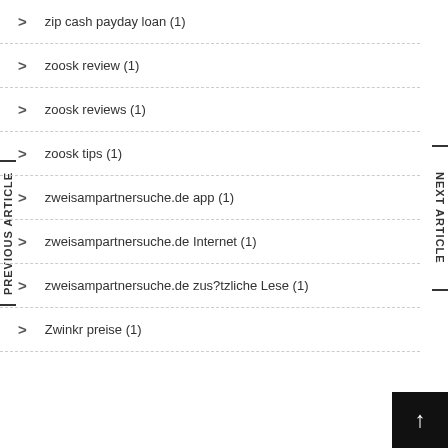zip cash payday loan (1)
zoosk review (1)
zoosk reviews (1)
zoosk tips (1)
zweisampartnersuche.de app (1)
zweisampartnersuche.de Internet (1)
zweisampartnersuche.de zus?tzliche Lese (1)
Zwinkr preise (1)